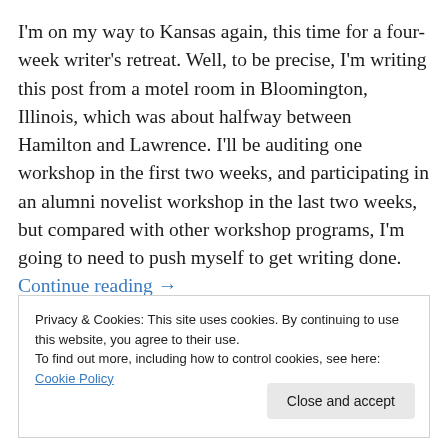I'm on my way to Kansas again, this time for a four-week writer's retreat. Well, to be precise, I'm writing this post from a motel room in Bloomington, Illinois, which was about halfway between Hamilton and Lawrence. I'll be auditing one workshop in the first two weeks, and participating in an alumni novelist workshop in the last two weeks, but compared with other workshop programs, I'm going to need to push myself to get writing done. Continue reading →
Privacy & Cookies: This site uses cookies. By continuing to use this website, you agree to their use.
To find out more, including how to control cookies, see here: Cookie Policy